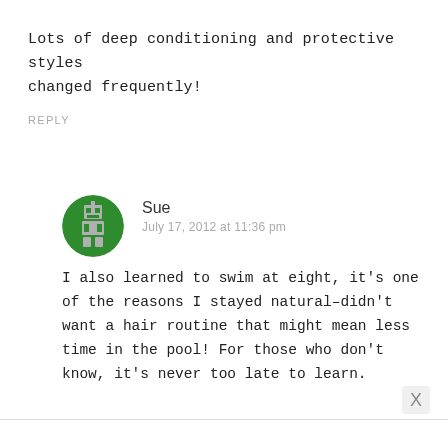Lots of deep conditioning and protective styles changed frequently!
REPLY
[Figure (illustration): Circular green avatar with a pixelated robot/character icon in gray and white]
Sue
July 17, 2012 at 11:36 pm
I also learned to swim at eight, it's one of the reasons I stayed natural–didn't want a hair routine that might mean less time in the pool! For those who don't know, it's never too late to learn.